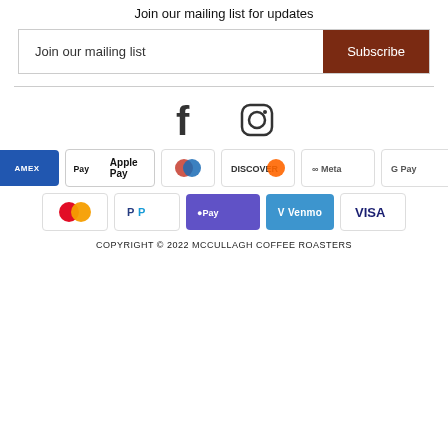Join our mailing list for updates
Join our mailing list  Subscribe
[Figure (infographic): Facebook and Instagram social media icons]
[Figure (infographic): Payment method icons: American Express, Apple Pay, Diners Club, Discover, Meta Pay, Google Pay, Mastercard, PayPal, Shop Pay, Venmo, Visa]
COPYRIGHT © 2022 MCCULLAGH COFFEE ROASTERS